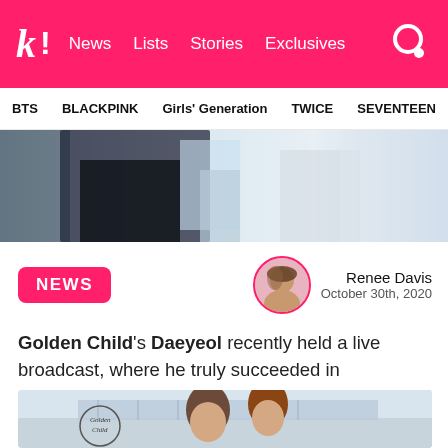k! News Lists Stories Exclusives
BTS BLACKPINK Girls' Generation TWICE SEVENTEEN
[Figure (photo): Hero image partial view showing a person in dark clothing, blurred background with light blue tones]
NEWS
Renee Davis
October 30th, 2020
Golden Child's Daeyeol recently held a live broadcast, where he truly succeeded in channelling his older brother, INFINITE's Sungyeol!
[Figure (photo): Photo of two young men, one with brown hair, Golden Child logo visible in lower left, taken outdoors]